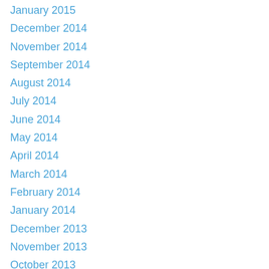January 2015
December 2014
November 2014
September 2014
August 2014
July 2014
June 2014
May 2014
April 2014
March 2014
February 2014
January 2014
December 2013
November 2013
October 2013
September 2013
August 2013
July 2013
June 2013
May 2013